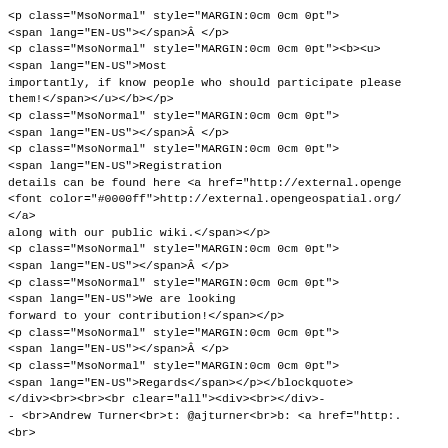<p class="MsoNormal" style="MARGIN:0cm 0cm 0pt">
<span lang="EN-US"></span>Â </p>
<p class="MsoNormal" style="MARGIN:0cm 0cm 0pt"><b><u>
<span lang="EN-US">Most
importantly, if know people who should participate please
them!</span></u></b></p>
<p class="MsoNormal" style="MARGIN:0cm 0cm 0pt">
<span lang="EN-US"></span>Â </p>
<p class="MsoNormal" style="MARGIN:0cm 0cm 0pt">
<span lang="EN-US">Registration
details can be found here <a href="http://external.openge
<font color="#0000ff">http://external.opengeospatial.org/
</a>
along with our public wiki.</span></p>
<p class="MsoNormal" style="MARGIN:0cm 0cm 0pt">
<span lang="EN-US"></span>Â </p>
<p class="MsoNormal" style="MARGIN:0cm 0cm 0pt">
<span lang="EN-US">We are looking
forward to your contribution!</span></p>
<p class="MsoNormal" style="MARGIN:0cm 0cm 0pt">
<span lang="EN-US"></span>Â </p>
<p class="MsoNormal" style="MARGIN:0cm 0cm 0pt">
<span lang="EN-US">Regards</span></p></blockquote>
</div><br><br><br clear="all"><div><br></div>-
- <br>Andrew Turner<br>t: @ajturner<br>b: <a href="http:.
<br>

m: 248.982.3609<br>
</div></div>